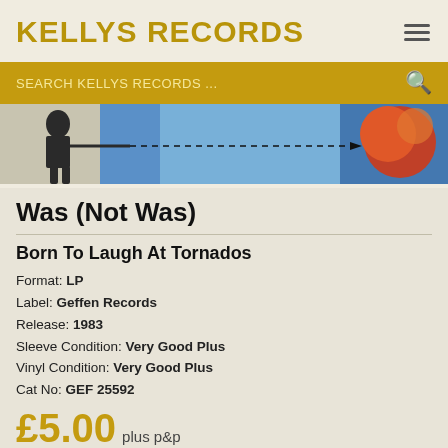KELLYS RECORDS
SEARCH KELLYS RECORDS ...
[Figure (photo): Album cover for Was (Not Was) - Born To Laugh At Tornados. Shows a figure on the left side with arm extended pointing, a dashed arrow line going across a blue sky, toward orange/red circular shapes on the right.]
Was (Not Was)
Born To Laugh At Tornados
Format: LP
Label: Geffen Records
Release: 1983
Sleeve Condition: Very Good Plus
Vinyl Condition: Very Good Plus
Cat No: GEF 25592
£5.00 plus p&p
Add to Cart